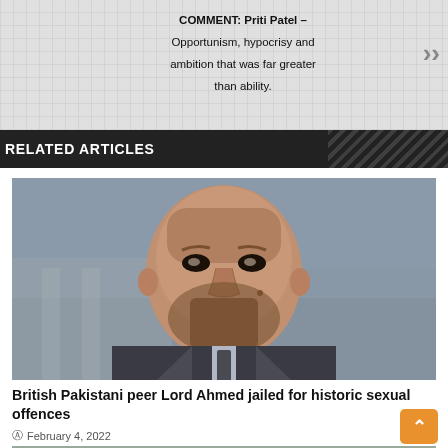COMMENT: Priti Patel – Opportunism, hypocrisy and ambition that was far greater than ability.
RELATED ARTICLES
[Figure (photo): Close-up photograph of Lord Ahmed, a British Pakistani peer, looking serious in a suit]
British Pakistani peer Lord Ahmed jailed for historic sexual offences
February 4, 2022